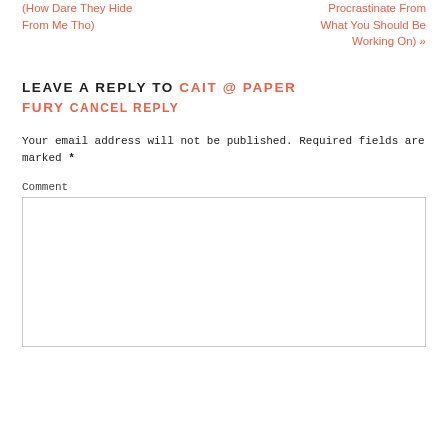(How Dare They Hide From Me Tho)
Procrastinate From What You Should Be Working On) »
LEAVE A REPLY TO CAIT @ PAPER FURY CANCEL REPLY
Your email address will not be published. Required fields are marked *
Comment